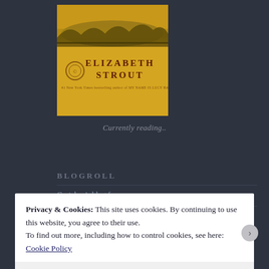[Figure (illustration): Book cover for an Elizabeth Strout novel, golden/yellow background with dark silhouetted trees or grass, author name 'ELIZABETH STROUT' displayed prominently, subtitle text below]
Currently reading..
BLOGROLL
Gretchen's blog for moms
http://ajoobacatsblog.com/
Privacy & Cookies: This site uses cookies. By continuing to use this website, you agree to their use.
To find out more, including how to control cookies, see here:
Cookie Policy
Close and accept